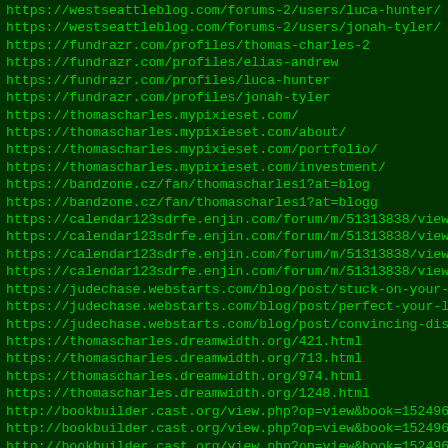https://westseattleblog.com/forums-2/users/luca-hunter/
https://westseattleblog.com/forums-2/users/jonah-tyler/
https://fundrazr.com/profiles/thomas-charles-2
https://fundrazr.com/profiles/elias-andrew
https://fundrazr.com/profiles/luca-hunter
https://fundrazr.com/profiles/jonah-tyler
https://thomascharles.mypixieset.com/
https://thomascharles.mypixieset.com/about/
https://thomascharles.mypixieset.com/portfolio/
https://thomascharles.mypixieset.com/investment/
https://bandzone.cz/fan/thomascharles1?at=blog
https://bandzone.cz/fan/thomascharles1?at=blogg
https://calendar123sdrfe.enjin.com/forum/m/51313838/viewthr
https://calendar123sdrfe.enjin.com/forum/m/51313838/viewthr
https://calendar123sdrfe.enjin.com/forum/m/51313838/viewthr
https://calendar123sdrfe.enjin.com/forum/m/51313838/viewthr
https://judechase.webstarts.com/blog/post/stuck-on-your-cri
https://judechase.webstarts.com/blog/post/perfect-your-lite
https://judechase.webstarts.com/blog/post/convincing-discou
https://thomascharles.dreamwidth.org/421.html
https://thomascharles.dreamwidth.org/713.html
https://thomascharles.dreamwidth.org/974.html
https://thomascharles.dreamwidth.org/1248.html
http://bookbuilder.cast.org/view.php?op=view&book=152496&pa
http://bookbuilder.cast.org/view.php?op=view&book=152496&pa
http://bookbuilder.cast.org/view.php?op=view&book=152496&pa
http://bookbuilder.cast.org/view.php?op=view&book=152496&pa
https://bookme.name/ThomasCharles
https://bookme.name/EliasAndrew
https://bookme.name/LucaHunter